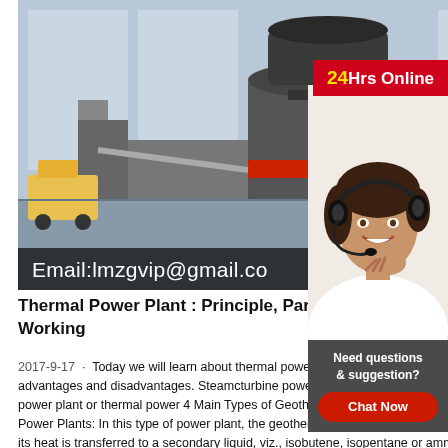[Figure (photo): Industrial crushing/sand-making machine in a factory setting with red/gray color scheme, with email overlay 'Email:lmzgvip@gmail.co' at bottom]
[Figure (photo): Customer service representative wearing headset, smiling, with '24Hrs Online' red badge overlay at top and 'Need questions & suggestion? Chat Now' panel below]
Thermal Power Plant : Principle, Parts Working
2017-9-17 · Today we will learn about thermal power plant, its main components along with working advantages and disadvantages. Steamcturbine power plant which is sometime known as coal based power plant or thermal power 4 Main Types of Geothermal Power Plants,2021-12-24 · Type 3. Binary Power Plants: In this type of power plant, the geothermal water is passed through a heat exchanger where its heat is transferred to a secondary liquid, viz., isobutene, isopentane or ammonia-water mixture present in an adjacent, separate pipe. Because of this